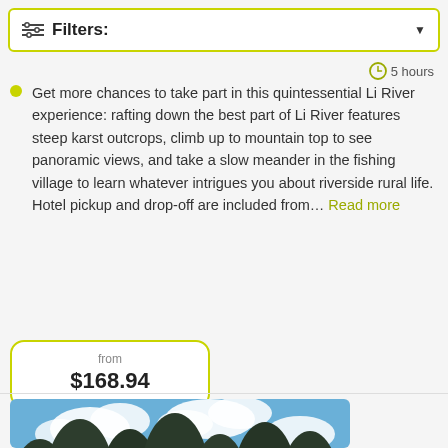Filters:
5 hours
Get more chances to take part in this quintessential Li River experience: rafting down the best part of Li River features steep karst outcrops, climb up to mountain top to see panoramic views, and take a slow meander in the fishing village to learn whatever intrigues you about riverside rural life. Hotel pickup and drop-off are included from… Read more
from $168.94
[Figure (photo): Scenic photo of Li River with karst mountain peaks, lush green trees along the riverbank, colourful rafts on the water, and a blue sky with white clouds.]